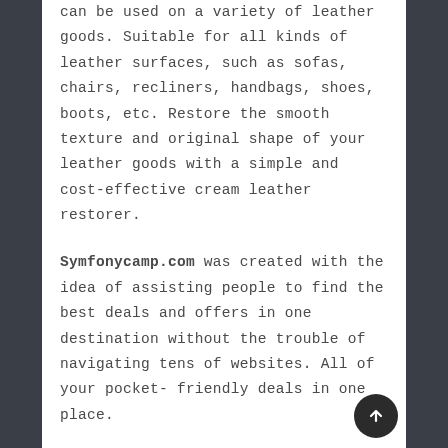can be used on a variety of leather goods. Suitable for all kinds of leather surfaces, such as sofas, chairs, recliners, handbags, shoes, boots, etc. Restore the smooth texture and original shape of your leather goods with a simple and cost-effective cream leather restorer.
Symfonycamp.com was created with the idea of assisting people to find the best deals and offers in one destination without the trouble of navigating tens of websites. All of your pocket-friendly deals in one place.
Our experts constantly select the most effective